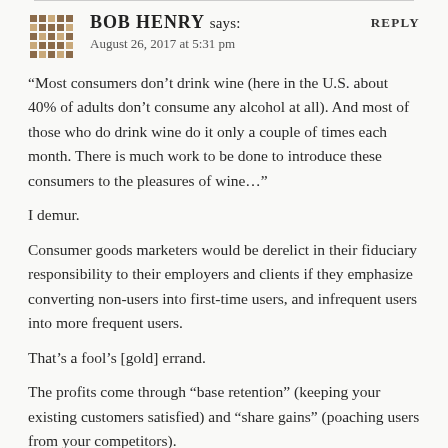Bob Henry says:
August 26, 2017 at 5:31 pm
“Most consumers don’t drink wine (here in the U.S. about 40% of adults don’t consume any alcohol at all). And most of those who do drink wine do it only a couple of times each month. There is much work to be done to introduce these consumers to the pleasures of wine…”
I demur.
Consumer goods marketers would be derelict in their fiduciary responsibility to their employers and clients if they emphasize converting non-users into first-time users, and infrequent users into more frequent users.
That’s a fool’s [gold] errand.
The profits come through “base retention” (keeping your existing customers satisfied) and “share gains” (poaching users from your competitors).